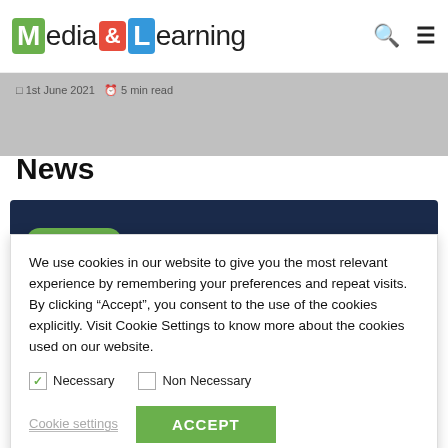Media&Learning
1st June 2021  5 min read
News
We use cookies in our website to give you the most relevant experience by remembering your preferences and repeat visits. By clicking “Accept”, you consent to the use of the cookies explicitly. Visit Cookie Settings to know more about the cookies used on our website.
Necessary  Non Necessary
Cookie settings  ACCEPT
31st May 2021  1 min read